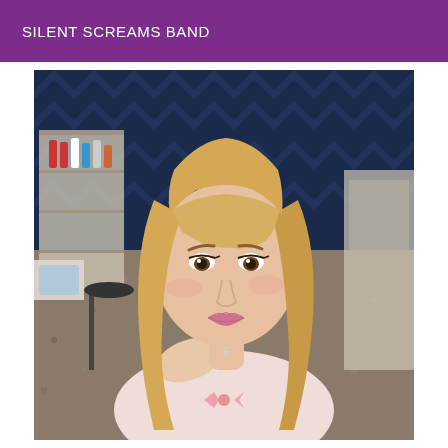SILENT SCREAMS BAND
[Figure (photo): A blonde woman with long straight hair and bangs takes a selfie in what appears to be a hair salon. She is wearing a light pink top and smiling at the camera. The salon background shows shelving with hair products, a stool, and dark blue patterned wallpaper.]